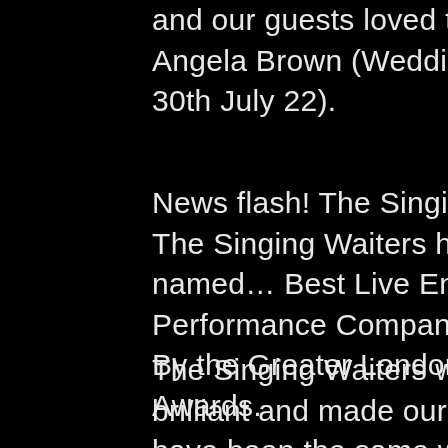and our guests loved the show! Angela Brown (Wedding in Salisbury 30th July 22).
News flash! The Singing Waiters The Singing Waiters has been named… Best Live Entertaining Performance Company 2022 By the Greater London Enterprise Awards.
The Singing Waiters were absolutely brilliant and made our day. It wouldn't have been the same without you! Thank you so very much for coming. Everyone loved your singing / your acting and